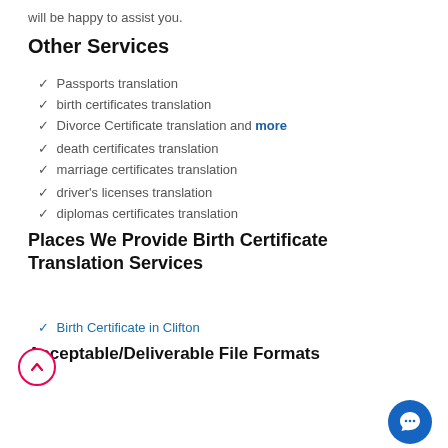will be happy to assist you.
Other Services
✓ Passports translation
✓ birth certificates translation
✓ Divorce Certificate translation and more
✓ death certificates translation
✓ marriage certificates translation
✓ driver's licenses translation
✓ diplomas certificates translation
Places We Provide Birth Certificate Translation Services
✓ Birth Certificate in Clifton
Acceptable/Deliverable File Formats